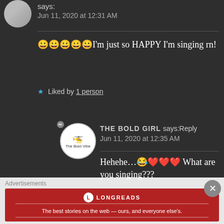says:
Jun 11, 2020 at 12:31 AM
😀😀😀😀😀I'm just so HAPPY I'm singing rn!
★ Liked by 1 person
[Figure (photo): Avatar logo for The Bold Girl - circular white badge with helicopter icon and text 'The Bold Vibe']
THE BOLD GIRL says: Reply
Jun 11, 2020 at 12:35 AM
Hehehe…😂❤❤❤ What are you singing???
Advertisements
[Figure (logo): Longreads advertisement banner - red background with Longreads logo and tagline: The best stories on the web — ours, and everyone else's.]